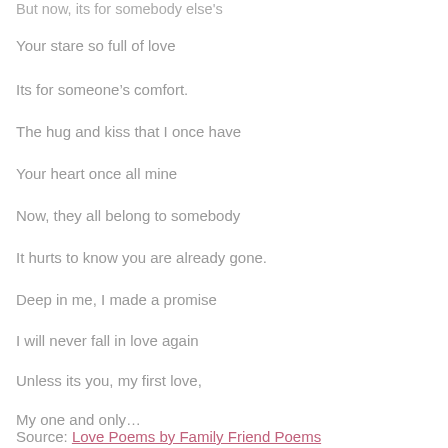But now, its for somebody else's
Your stare so full of love
Its for someone’s comfort.
The hug and kiss that I once have
Your heart once all mine
Now, they all belong to somebody
It hurts to know you are already gone.
Deep in me, I made a promise
I will never fall in love again
Unless its you, my first love,
My one and only…
Source: Love Poems by Family Friend Poems